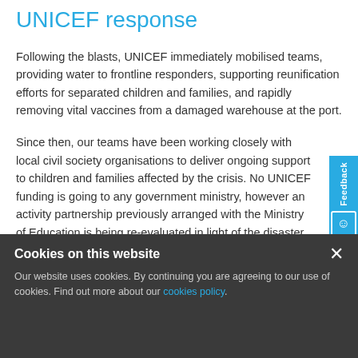UNICEF response
Following the blasts, UNICEF immediately mobilised teams, providing water to frontline responders, supporting reunification efforts for separated children and families, and rapidly removing vital vaccines from a damaged warehouse at the port.
Since then, our teams have been working closely with local civil society organisations to deliver ongoing support to children and families affected by the crisis. No UNICEF funding is going to any government ministry, however an activity partnership previously arranged with the Ministry of Education is being re-evaluated in light of the disaster in Beirut.
Cookies on this website
Our website uses cookies. By continuing you are agreeing to our use of cookies. Find out more about our cookies policy.